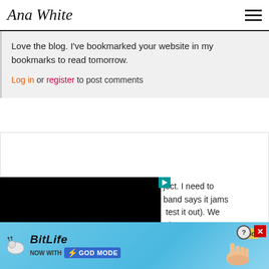Ana White (logo/navigation header)
Love the blog. I've bookmarked your website in my bookmarks to read tomorrow.
Log in or register to post comments
Kaely (not verified)
Sat, 03/06/2010 - 08:59
[Figure (other): Black video player overlay covering part of comment section]
ject. I need to band says it jams test it out). We rd.
[Figure (other): BitLife advertisement banner - NOW WITH GOD MODE]